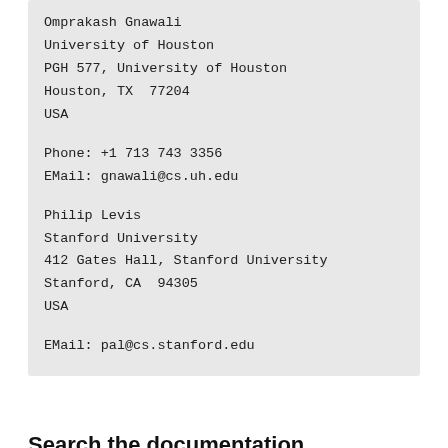Omprakash Gnawali
University of Houston
PGH 577, University of Houston
Houston, TX  77204
USA

Phone: +1 713 743 3356
EMail: gnawali@cs.uh.edu

Philip Levis
Stanford University
412 Gates Hall, Stanford University
Stanford, CA  94305
USA

EMail: pal@cs.stanford.edu
Search the documentation